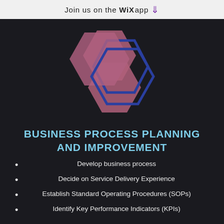Join us on the WiX app ⬇
[Figure (logo): Two interlocking hexagons: one pink/mauve and one dark blue outline, overlapping on a dark background]
BUSINESS PROCESS PLANNING AND IMPROVEMENT
Develop business process
Decide on Service Delivery Experience
Establish Standard Operating Procedures (SOPs)
Identify Key Performance Indicators (KPIs)